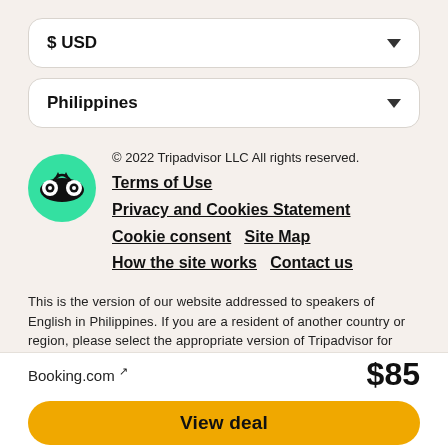$USD (dropdown)
Philippines (dropdown)
© 2022 Tripadvisor LLC All rights reserved.
Terms of Use
Privacy and Cookies Statement
Cookie consent    Site Map
How the site works    Contact us
This is the version of our website addressed to speakers of English in Philippines. If you are a resident of another country or region, please select the appropriate version of Tripadvisor for your country or region in the drop-down menu. more
Booking.com ↗
$85
View deal